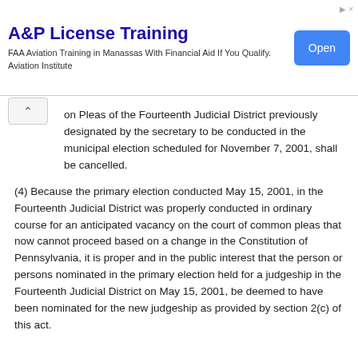[Figure (other): Advertisement banner: A&P License Training — FAA Aviation Training in Manassas With Financial Aid If You Qualify. Aviation Institute. Open button.]
on Pleas of the Fourteenth Judicial District previously designated by the secretary to be conducted in the municipal election scheduled for November 7, 2001, shall be cancelled.
(4) Because the primary election conducted May 15, 2001, in the Fourteenth Judicial District was properly conducted in ordinary course for an anticipated vacancy on the court of common pleas that now cannot proceed based on a change in the Constitution of Pennsylvania, it is proper and in the public interest that the person or persons nominated in the primary election held for a judgeship in the Fourteenth Judicial District on May 15, 2001, be deemed to have been nominated for the new judgeship as provided by section 2(c) of this act.